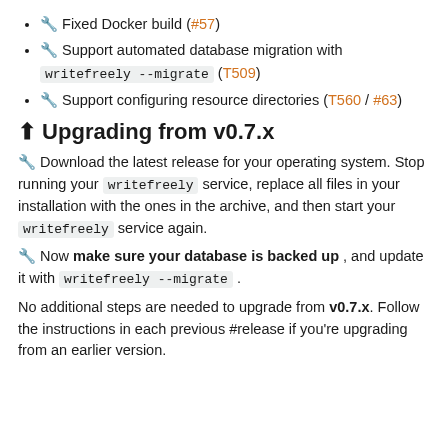🛠 Fixed Docker build (#57)
🛠 Support automated database migration with writefreely --migrate (T509)
🛠 Support configuring resource directories (T560 / #63)
⬆ Upgrading from v0.7.x
🛠 Download the latest release for your operating system. Stop running your writefreely service, replace all files in your installation with the ones in the archive, and then start your writefreely service again.
🛠 Now make sure your database is backed up , and update it with writefreely --migrate .
No additional steps are needed to upgrade from v0.7.x. Follow the instructions in each previous #release if you're upgrading from an earlier version.